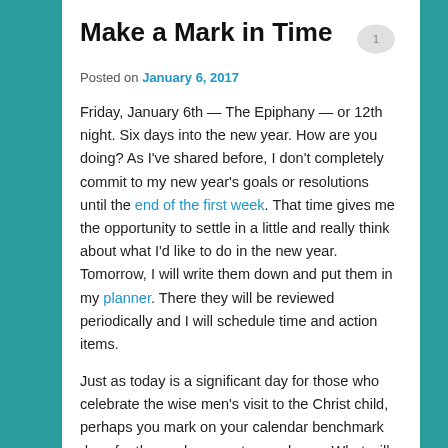Make a Mark in Time
Posted on January 6, 2017
Friday, January 6th — The Epiphany — or 12th night. Six days into the new year. How are you doing? As I've shared before, I don't completely commit to my new year's goals or resolutions until the end of the first week. That time gives me the opportunity to settle in a little and really think about what I'd like to do in the new year. Tomorrow, I will write them down and put them in my planner. There they will be reviewed periodically and I will schedule time and action items.
Just as today is a significant day for those who celebrate the wise men's visit to the Christ child, perhaps you mark on your calendar benchmark days for the goals you set a week ago. What will you have accomplished by Ash Wednesday (March 1st this year)? Or Easter? Perhaps your birthday or anniversary is in the spring, how far along will you be in your resolutions by then? March 21st is the